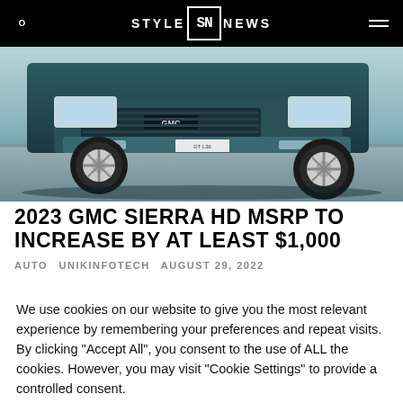STYLE SN NEWS
[Figure (photo): Front view of a dark teal/green GMC Sierra HD truck, showing the grille, headlights, bumper, and front wheel, photographed from a low angle with a blurred road background.]
2023 GMC SIERRA HD MSRP TO INCREASE BY AT LEAST $1,000
AUTO   UNIKINFOTECH   AUGUST 29, 2022
We use cookies on our website to give you the most relevant experience by remembering your preferences and repeat visits. By clicking "Accept All", you consent to the use of ALL the cookies. However, you may visit "Cookie Settings" to provide a controlled consent.
Cookie Settings   Accept All